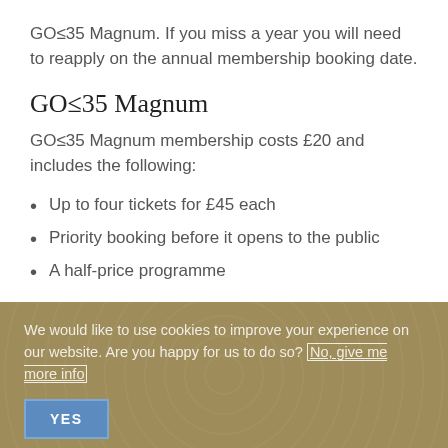GO≤35 Magnum. If you miss a year you will need to reapply on the annual membership booking date.
GO≤35 Magnum
GO≤35 Magnum membership costs £20 and includes the following:
Up to four tickets for £45 each
Priority booking before it opens to the public
A half-price programme
We would like to use cookies to improve your experience on our website. Are you happy for us to do so? No, give me more info
YES